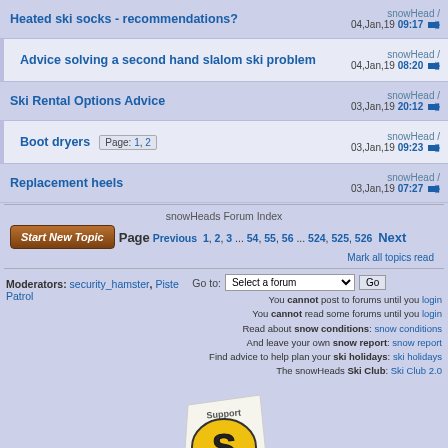Heated ski socks - recommendations? | snowHead / 04,Jan,19 09:17
Advice solving a second hand slalom ski problem | snowHead / 04,Jan,19 08:20
Ski Rental Options Advice | snowHead / 03,Jan,19 20:12
Boot dryers Page: 1, 2 | snowHead / 03,Jan,19 09:23
Replacement heels | snowHead / 03,Jan,19 07:27
snowHeads Forum Index
Page Previous  1, 2, 3 ... 54, 55, 56 ... 524, 525, 526  Next
Mark all topics read
Moderators: security_hamster, Piste Patrol
Go to: Select a forum | Go
You cannot post to forums until you login
You cannot read some forums until you login
Read about snow conditions: snow conditions
And leave your own snow report: snow report
Find advice to help plan your ski holidays: ski holidays
The snowHeads Ski Club: Ski Club 2.0
[Figure (logo): Support snowHeads badge with yellow S logo]